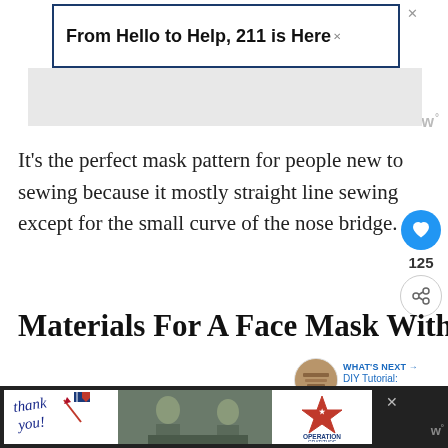[Figure (screenshot): Advertisement banner: 'From Hello to Help, 211 is Here' in bold black text, dark navy border, with close X button]
[Figure (logo): Small brand watermark logo in gray at top right]
It’s the perfect mask pattern for people new to sewing because it mostly straight line sewing except for the small curve of the nose bridge.
Materials For A Face Mask Without Pleats
[Figure (infographic): What's Next panel with circular thumbnail image and text: 'WHAT'S NEXT → DIY Tutorial: Sew A Face...' in blue]
[Figure (photo): Green cutting mat surface visible at bottom of content area]
[Figure (screenshot): Bottom black advertisement bar with white inner panel showing 'thank you!' handwriting, military personnel photo, and Operation Gratitude logo]